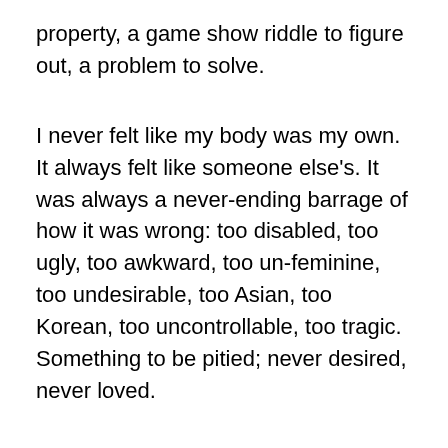property, a game show riddle to figure out, a problem to solve.
I never felt like my body was my own. It always felt like someone else's. It was always a never-ending barrage of how it was wrong: too disabled, too ugly, too awkward, too un-feminine, too undesirable, too Asian, too Korean, too uncontrollable, too tragic. Something to be pitied; never desired, never loved.
I was raised in a very rural, tight-knit feminist community. The year I was adopted, my adoptive mother, along with 9 other women started the Women's Coalition of St. Croix, a direct service organization that helped victims of domestic